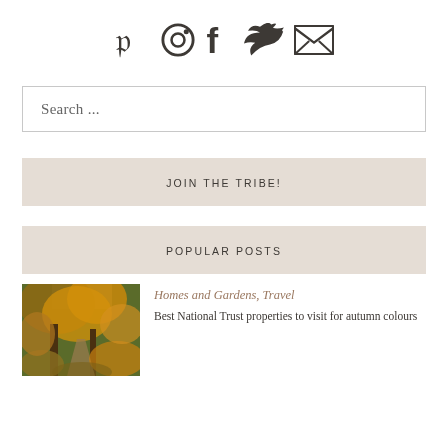[Figure (illustration): Social media icons: Pinterest, Instagram, Facebook, Twitter, Email (envelope)]
Search ...
JOIN THE TRIBE!
POPULAR POSTS
[Figure (photo): Autumn woodland path with orange and yellow foliage]
Homes and Gardens, Travel
Best National Trust properties to visit for autumn colours